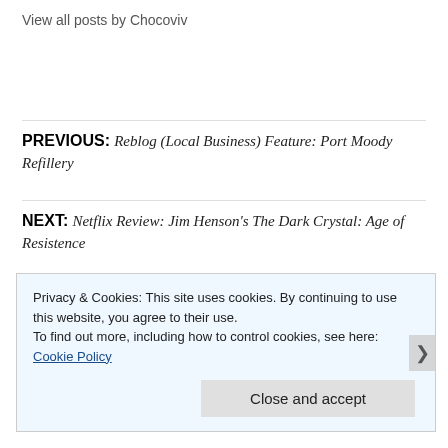View all posts by Chocoviv
PREVIOUS: Reblog (Local Business) Feature: Port Moody Refillery
NEXT: Netflix Review: Jim Henson's The Dark Crystal: Age of Resistence
Privacy & Cookies: This site uses cookies. By continuing to use this website, you agree to their use.
To find out more, including how to control cookies, see here: Cookie Policy
Close and accept